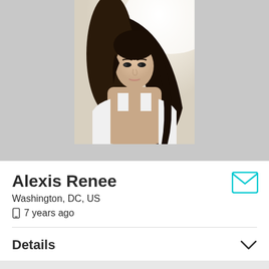[Figure (photo): Profile photo of a young woman with long dark hair, wearing a white tank top, photographed against a bright outdoor background]
Alexis Renee
Washington, DC, US
7 years ago
Details